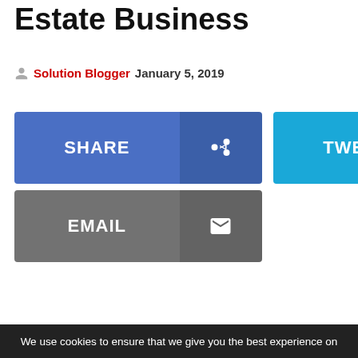Estate Business
Solution Blogger   January 5, 2019
[Figure (other): Social sharing buttons: SHARE (Facebook), TWEET (Twitter), EMAIL]
We use cookies to ensure that we give you the best experience on